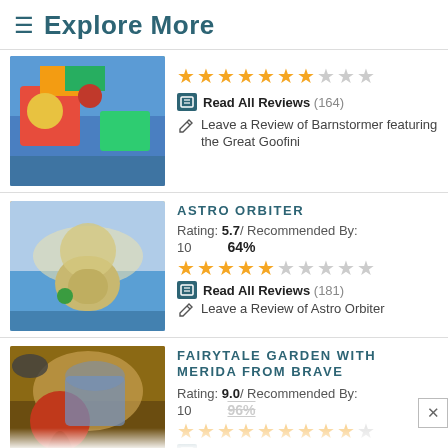≡ Explore More
[Figure (photo): Photo of Barnstormer ride with colorful cartoon backdrop]
Read All Reviews (164)
Leave a Review of Barnstormer featuring the Great Goofini
[Figure (photo): Photo of Astro Orbiter ride with child passenger]
ASTRO ORBITER
Rating: 5.7 / Recommended By: 10   64%
Read All Reviews (181)
Leave a Review of Astro Orbiter
[Figure (photo): Photo of Fairytale Garden with Merida from Brave character]
FAIRYTALE GARDEN WITH MERIDA FROM BRAVE
Rating: 9.0 / Recommended By: 10   96%
Read All Reviews